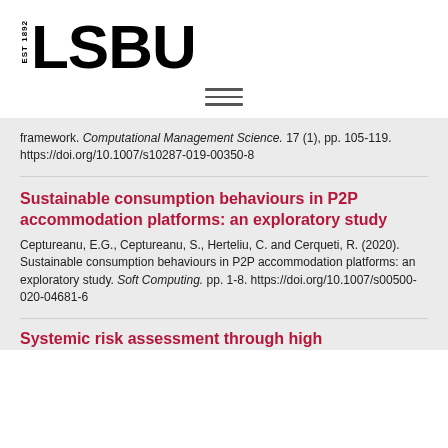[Figure (logo): LSBU logo with EST 1892 text]
[Figure (other): Hamburger menu icon with three horizontal lines]
framework. Computational Management Science. 17 (1), pp. 105-119. https://doi.org/10.1007/s10287-019-00350-8
Sustainable consumption behaviours in P2P accommodation platforms: an exploratory study
Ceptureanu, E.G., Ceptureanu, S., Herteliu, C. and Cerqueti, R. (2020). Sustainable consumption behaviours in P2P accommodation platforms: an exploratory study. Soft Computing. pp. 1-8. https://doi.org/10.1007/s00500-020-04681-6
Systemic risk assessment through high